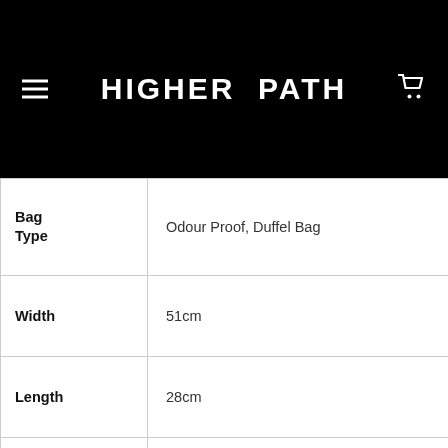HIGHER PATH
| Attribute | Value |
| --- | --- |
| Bag Type | Odour Proof, Duffel Bag |
| Width | 51cm |
| Length | 28cm |
| Height | 28cm |
| Colour | Black, Green, Crosshatch Grey, Striped |